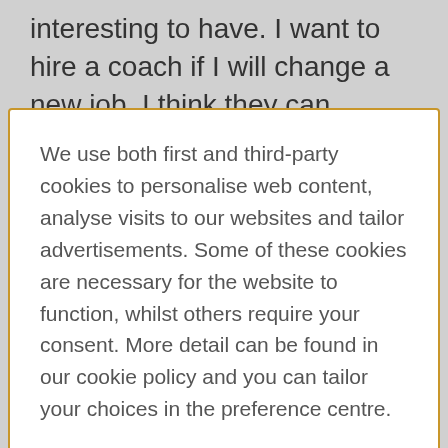interesting to have. I want to hire a coach if I will change a new job. I think they can
We use both first and third-party cookies to personalise web content, analyse visits to our websites and tailor advertisements. Some of these cookies are necessary for the website to function, whilst others require your consent. More detail can be found in our cookie policy and you can tailor your choices in the preference centre.
Accept All Cookies
Cookies Settings